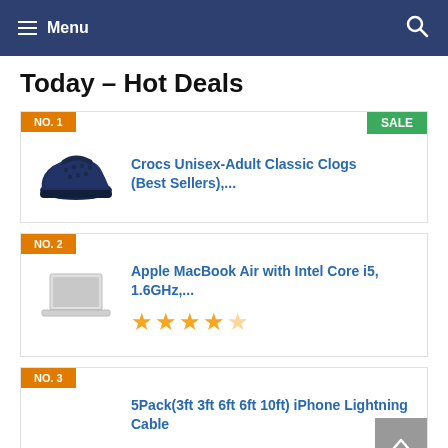Menu  [search icon]
Today – Hot Deals
NO. 1  SALE
Crocs Unisex-Adult Classic Clogs (Best Sellers),...
NO. 2
Apple MacBook Air with Intel Core i5, 1.6GHz,...
4.5 stars
NO. 3
5Pack(3ft 3ft 6ft 6ft 10ft) iPhone Lightning Cable